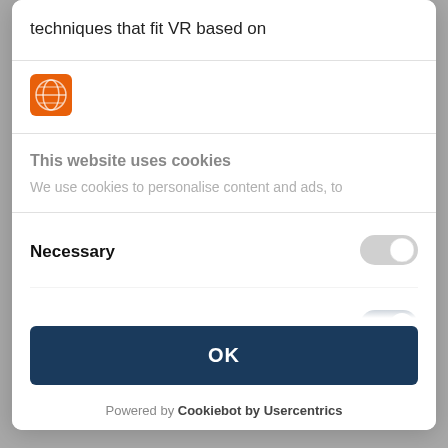techniques that fit VR based on
[Figure (logo): Orange globe/network icon logo]
This website uses cookies
We use cookies to personalise content and ads, to
Necessary
Preferences
Statistics (partially visible)
OK
Powered by Cookiebot by Usercentrics